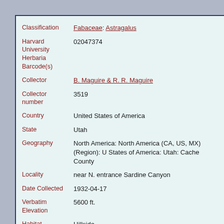| Field | Value |
| --- | --- |
| Classification | Fabaceae: Astragalus |
| Harvard University Herbaria Barcode(s) | 02047374 |
| Collector | B. Maguire & R. R. Maguire |
| Collector number | 3519 |
| Country | United States of America |
| State | Utah |
| Geography | North America: North America (CA, US, MX) (Region): United States of America: Utah: Cache County |
| Locality | near N. entrance Sardine Canyon |
| Date Collected | 1932-04-17 |
| Verbatim Elevation | 5600 ft. |
| Habitat | Hillside |
| Container | Flora of Utah |
| Project | US and Canada - Mass Digitization |